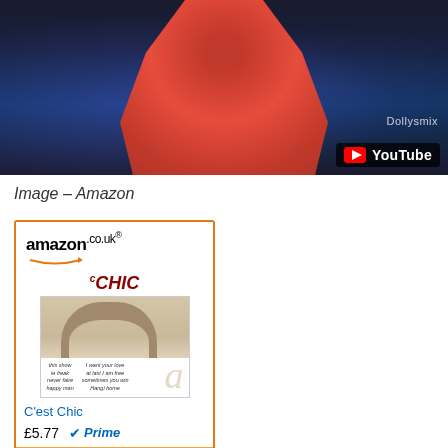[Figure (screenshot): YouTube video thumbnail showing a performer in a red outfit on stage with blue stage lighting. 'Dollysmix' watermark visible. YouTube logo and play button in bottom right corner.]
Image – Amazon
[Figure (screenshot): Amazon.co.uk product widget showing the album 'C'est Chic' priced at £5.77 with Prime shipping available. Includes a 'Shop now' button at the bottom.]